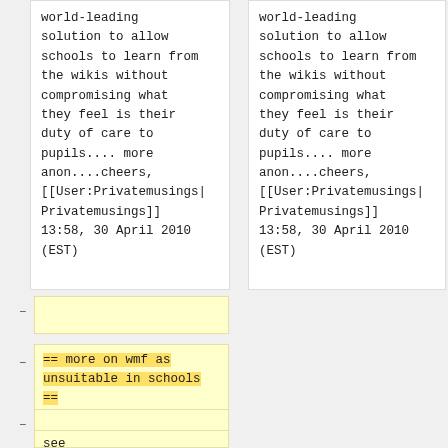world-leading solution to allow schools to learn from the wikis without compromising what they feel is their duty of care to pupils.... more anon....cheers, [[User:Privatemusings|Privatemusings]] 13:58, 30 April 2010 (EST)
world-leading solution to allow schools to learn from the wikis without compromising what they feel is their duty of care to pupils.... more anon....cheers, [[User:Privatemusings|Privatemusings]] 13:58, 30 April 2010 (EST)
–
== more on wmf as unsuitable in schools ==
–
see